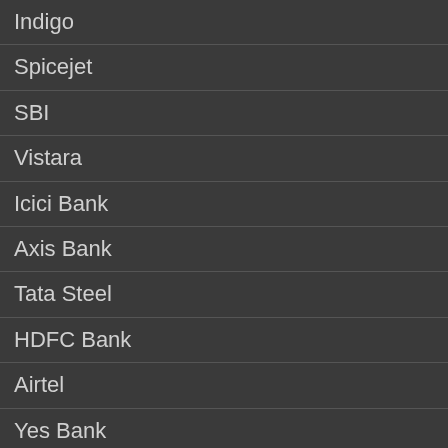Indigo
Spicejet
SBI
Vistara
Icici Bank
Axis Bank
Tata Steel
HDFC Bank
Airtel
Yes Bank
Wipro
JOBS IN USA
Southwest Airlines
Jetblue